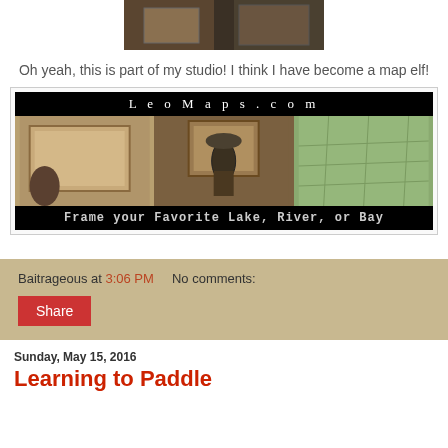[Figure (photo): Partial view of a studio/room interior, dark toned photo]
Oh yeah, this is part of my studio! I think I have become a map elf!
[Figure (illustration): LeoMaps.com advertisement banner showing framed maps and text 'Frame your Favorite Lake, River, or Bay']
Baitrageous at 3:06 PM   No comments:
Share
Sunday, May 15, 2016
Learning to Paddle